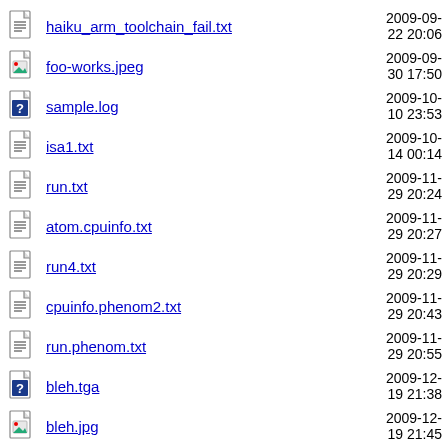haiku_arm_toolchain_fail.txt  2009-09-22 20:06
foo-works.jpeg  2009-09-30 17:50
sample.log  2009-10-10 23:53
isa1.txt  2009-10-14 00:14
run.txt  2009-11-29 20:24
atom.cpuinfo.txt  2009-11-29 20:27
run4.txt  2009-11-29 20:29
cpuinfo.phenom2.txt  2009-11-29 20:43
run.phenom.txt  2009-11-29 20:55
bleh.tga  2009-12-19 21:38
bleh.jpg  2009-12-19 21:45